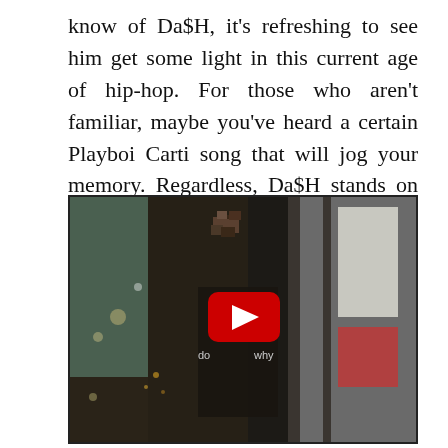know of Da$H, it's refreshing to see him get some light in this current age of hip-hop. For those who aren't familiar, maybe you've heard a certain Playboi Carti song that will jog your memory. Regardless, Da$H stands on his own two as an artist. Now, watch him evolve:
[Figure (screenshot): YouTube video embed showing a dark cinematic music video screenshot with a person visible through a window/glass, with a red YouTube play button in the center and partial text 'do' and 'why' visible below the play button.]